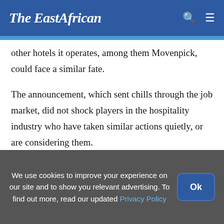The EastAfrican
other hotels it operates, among them Movenpick, could face a similar fate.
The announcement, which sent chills through the job market, did not shock players in the hospitality industry who have taken similar actions quietly, or are considering them.
Tribe Hotel, Ole Sereni and DusitD2, all in the
We use cookies to improve your experience on our site and to show you relevant advertising. To find out more, read our updated Privacy Policy